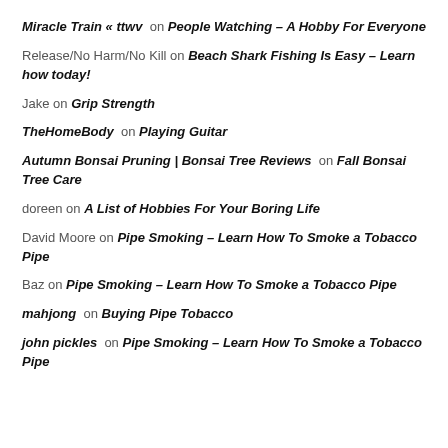Miracle Train « ttwv on People Watching – A Hobby For Everyone
Release/No Harm/No Kill on Beach Shark Fishing Is Easy – Learn how today!
Jake on Grip Strength
TheHomeBody on Playing Guitar
Autumn Bonsai Pruning | Bonsai Tree Reviews on Fall Bonsai Tree Care
doreen on A List of Hobbies For Your Boring Life
David Moore on Pipe Smoking – Learn How To Smoke a Tobacco Pipe
Baz on Pipe Smoking – Learn How To Smoke a Tobacco Pipe
mahjong on Buying Pipe Tobacco
john pickles on Pipe Smoking – Learn How To Smoke a Tobacco Pipe